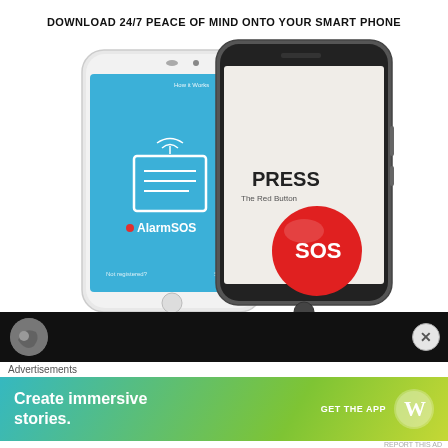DOWNLOAD 24/7 PEACE OF MIND ONTO YOUR SMART PHONE
[Figure (photo): Two smartphones (one white, one dark/silver) showing an AlarmSOS app interface. The white phone displays a blue screen with 'AlarmSOS' branding and a square icon. The dark phone shows 'PRESS The Red Button' with a large red SOS button.]
[Figure (screenshot): Advertisement banner. Dark bar at top with a grey moon/circle icon on left and an X close button on right. Below: 'Advertisements' label, then a gradient teal-to-green WordPress ad reading 'Create immersive stories.' with 'GET THE APP' and WordPress logo.]